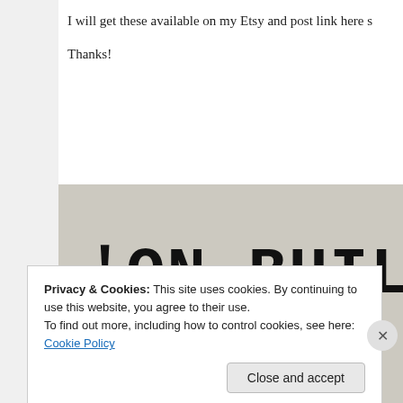I will get these available on my Etsy and post link here s
Thanks!
[Figure (photo): Photo showing large bold typewriter-style text reading 'ON BUILDING HOUSES' on a light background, partially cropped.]
Privacy & Cookies: This site uses cookies. By continuing to use this website, you agree to their use.
To find out more, including how to control cookies, see here: Cookie Policy
Close and accept